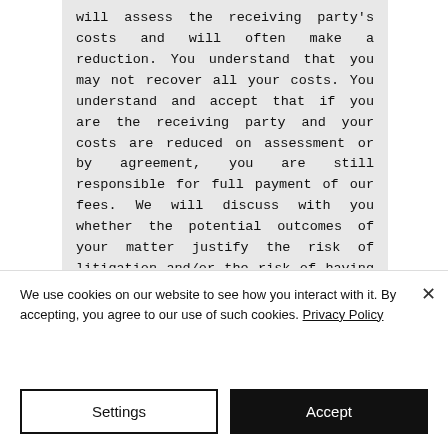will assess the receiving party's costs and will often make a reduction. You understand that you may not recover all your costs. You understand and accept that if you are the receiving party and your costs are reduced on assessment or by agreement, you are still responsible for full payment of our fees. We will discuss with you whether the potential outcomes of your matter justify the risk of litigation and/or the risk of having to pay the costs of another party and your own legal costs.
9.      Invoicing Arrangements
9.1      Where you agree a fixed fee, we
We use cookies on our website to see how you interact with it. By accepting, you agree to our use of such cookies. Privacy Policy